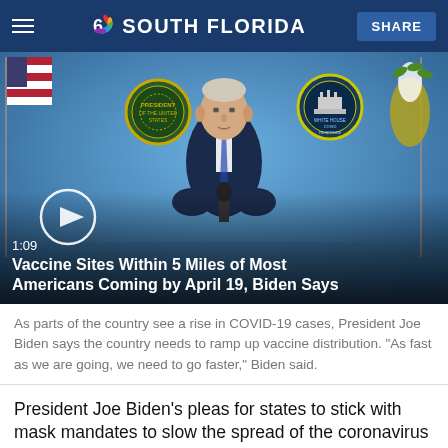NBC 6 South Florida
[Figure (screenshot): Video thumbnail showing President Joe Biden speaking at a podium with Presidential seal and White House COVID Response seal visible. Play button overlay. Duration 1:09. Title: Vaccine Sites Within 5 Miles of Most Americans Coming by April 19, Biden Says]
As parts of the country see a rise in COVID-19 cases, President Joe Biden says the country needs to ramp up vaccine distribution. "As fast as we are going, we need to go faster," Biden said.
President Joe Biden's pleas for states to stick with mask mandates to slow the spread of the coronavirus were being